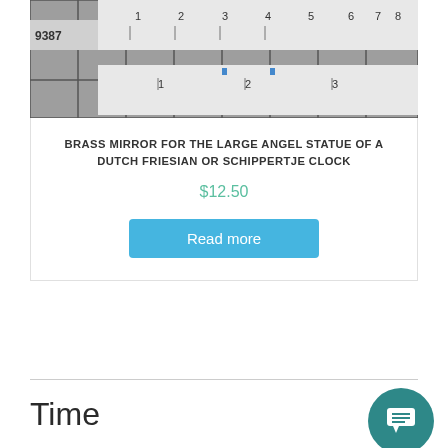[Figure (photo): Close-up photo of a ruler/measuring scale showing numbers 1-10 and markings, with '9387' visible, on a grid background. A small blue object is visible.]
BRASS MIRROR FOR THE LARGE ANGEL STATUE OF A DUTCH FRIESIAN OR SCHIPPERTJE CLOCK
$12.50
Read more
Time